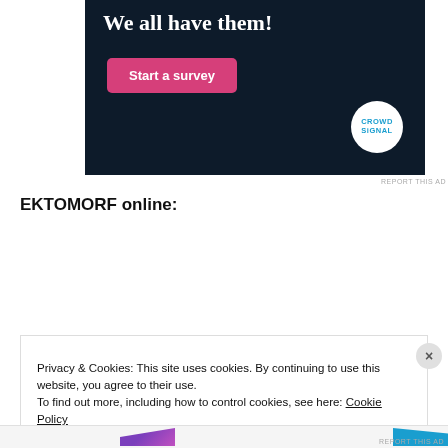[Figure (illustration): Dark navy advertisement banner with bold white serif text 'We all have them!', a pink 'Start a survey' button, and a white circular Crowdsignal logo.]
REPORT THIS AD
EKTOMORF online:
WEBSITE
FACEBOOK
INSTAGRAM
Privacy & Cookies: This site uses cookies. By continuing to use this website, you agree to their use.
To find out more, including how to control cookies, see here: Cookie Policy
Close and accept